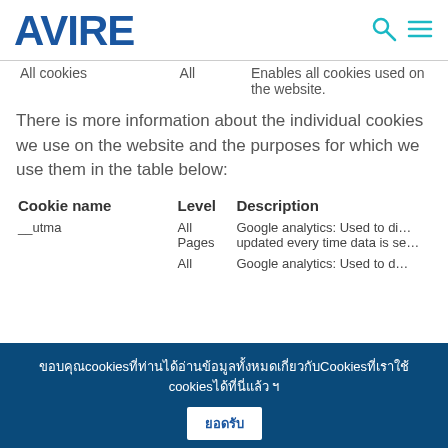AVIRE
|  |  |  |
| --- | --- | --- |
| All cookies | All | Enables all cookies used on the website. |
There is more information about the individual cookies we use on the website and the purposes for which we use them in the table below:
| Cookie name | Level | Description |
| --- | --- | --- |
| __utma | All Pages | Google analytics: Used to di... updated every time data is se... |
|  | All | Google analytics: Used to d... |
ขอบคุณcookiesที่ท่านได้อ่านข้อมูลทั้งหมดเกี่ยวกับCookiesที่เราใช้ cookies ได้ที่นี่แล้ว ฯ
ยอดรับ